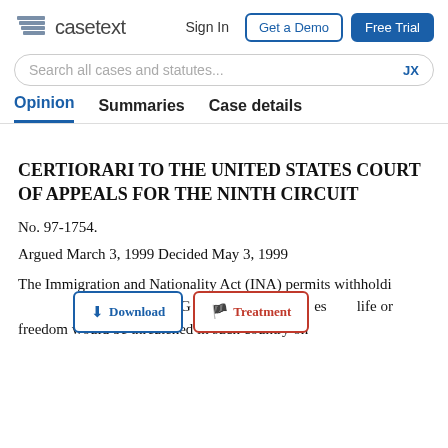casetext  Sign In  Get a Demo  Free Trial
Search all cases and statutes...  JX
Opinion  Summaries  Case details
CERTIORARI TO THE UNITED STATES COURT OF APPEALS FOR THE NINTH CIRCUIT
No. 97-1754.
Argued March 3, 1999 Decided May 3, 1999
The Immigration and Nationality Act (INA) permits withholding of deportation to the Attorney General who determines that life or freedom would be threatened in such country on